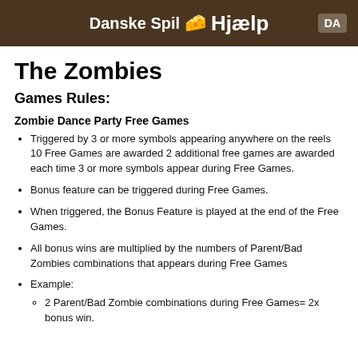Danske Spil 🧀 Hjælp  DA
The Zombies
Games Rules:
Zombie Dance Party Free Games
Triggered by 3 or more symbols appearing anywhere on the reels 10 Free Games are awarded 2 additional free games are awarded each time 3 or more symbols appear during Free Games.
Bonus feature can be triggered during Free Games.
When triggered, the Bonus Feature is played at the end of the Free Games.
All bonus wins are multiplied by the numbers of Parent/Bad Zombies combinations that appears during Free Games
Example:
2 Parent/Bad Zombie combinations during Free Games= 2x bonus win.